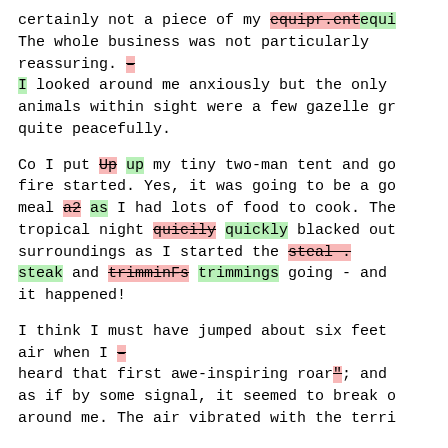certainly not a piece of my equipr.ent equi The whole business was not particularly reassuring. — I looked around me anxiously but the only animals within sight were a few gazelle gr quite peacefully.
Co I put Up up my tiny two-man tent and go fire started. Yes, it was going to be a go meal a2 as I had lots of food to cook. The tropical night quicily quickly blacked out surroundings as I started the steal . steak and trimminFs trimmings going - and it happened!
I think I must have jumped about six feet air when I — heard that first awe-inspiring roar" ; and as if by some signal, it seemed to break o around me. The air vibrated with the terri